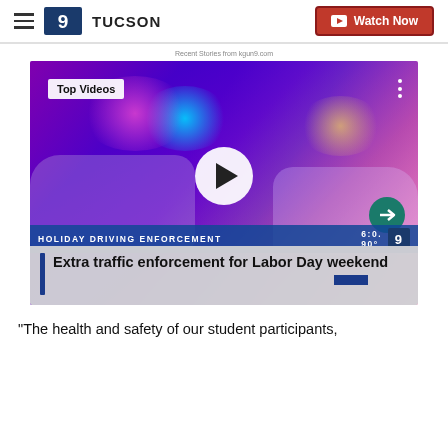9 TUCSON | Watch Now
Recent Stories from kgun9.com
[Figure (screenshot): News video thumbnail showing police cars with flashing lights at night. Overlay text reads 'Top Videos', 'HOLIDAY DRIVING ENFORCEMENT', and title 'Extra traffic enforcement for Labor Day weekend'. Play button visible in center.]
"The health and safety of our student participants,